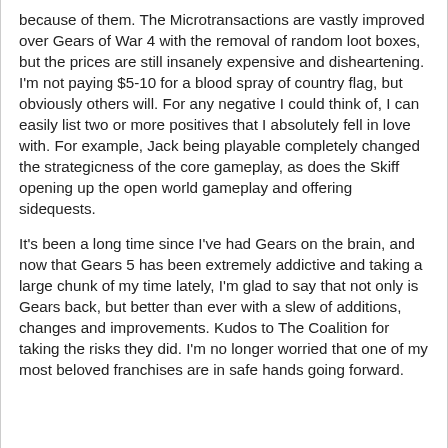because of them. The Microtransactions are vastly improved over Gears of War 4 with the removal of random loot boxes, but the prices are still insanely expensive and disheartening. I'm not paying $5-10 for a blood spray of country flag, but obviously others will. For any negative I could think of, I can easily list two or more positives that I absolutely fell in love with. For example, Jack being playable completely changed the strategicness of the core gameplay, as does the Skiff opening up the open world gameplay and offering sidequests.
It's been a long time since I've had Gears on the brain, and now that Gears 5 has been extremely addictive and taking a large chunk of my time lately, I'm glad to say that not only is Gears back, but better than ever with a slew of additions, changes and improvements. Kudos to The Coalition for taking the risks they did. I'm no longer worried that one of my most beloved franchises are in safe hands going forward.